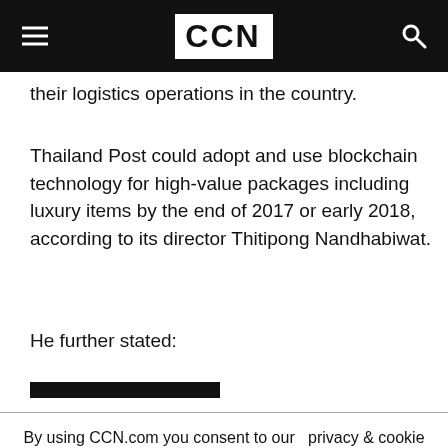CCN
their logistics operations in the country.
Thailand Post could adopt and use blockchain technology for high-value packages including luxury items by the end of 2017 or early 2018, according to its director Thitipong Nandhabiwat.
He further stated:
[redacted bar]
By using CCN.com you consent to our  privacy & cookie policy.
Continue